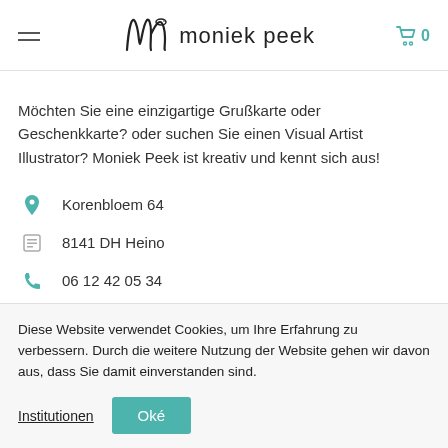moniek peek — header with hamburger menu and cart
Möchten Sie eine einzigartige Grußkarte oder Geschenkkarte? oder suchen Sie einen Visual Artist Illustrator? Moniek Peek ist kreativ und kennt sich aus!
Korenbloem 64
8141 DH Heino
06 12 42 05 34
Diese Website verwendet Cookies, um Ihre Erfahrung zu verbessern. Durch die weitere Nutzung der Website gehen wir davon aus, dass Sie damit einverstanden sind.
Institutionen  Oké